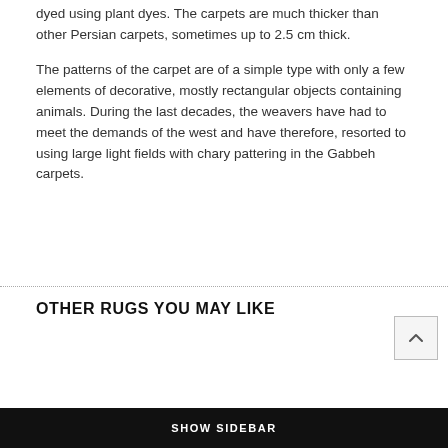dyed using plant dyes. The carpets are much thicker than other Persian carpets, sometimes up to 2.5 cm thick.
The patterns of the carpet are of a simple type with only a few elements of decorative, mostly rectangular objects containing animals. During the last decades, the weavers have had to meet the demands of the west and have therefore, resorted to using large light fields with chary pattering in the Gabbeh carpets.
OTHER RUGS YOU MAY LIKE
SHOW SIDEBAR